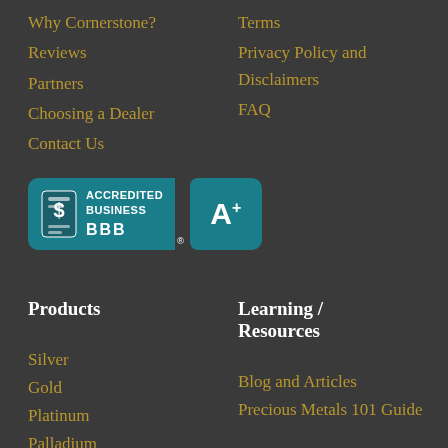Why Cornerstone?
Reviews
Partners
Choosing a Dealer
Contact Us
Terms
Privacy Policy and Disclaimers
FAQ
[Figure (logo): BBB Accredited Business with A+ rating badge]
Products
Learning / Resources
Silver
Gold
Platinum
Palladium
Blog and Articles
Precious Metals 101 Guide